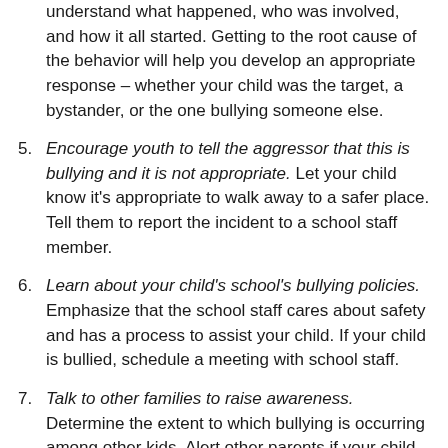understand what happened, who was involved, and how it all started. Getting to the root cause of the behavior will help you develop an appropriate response – whether your child was the target, a bystander, or the one bullying someone else.
5. Encourage youth to tell the aggressor that this is bullying and it is not appropriate. Let your child know it's appropriate to walk away to a safer place. Tell them to report the incident to a school staff member.
6. Learn about your child's school's bullying policies. Emphasize that the school staff cares about safety and has a process to assist your child. If your child is bullied, schedule a meeting with school staff.
7. Talk to other families to raise awareness. Determine the extent to which bullying is occurring among other kids. Alert other parents if your child is being bullied as this will prompt them to ask about their kids' own experiences.
8. Find out about your school district's anti-bullying policy and procedures. Become familiar with what your district's policy